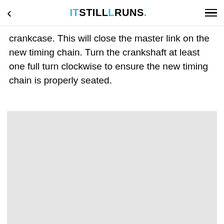< ITSTILLRUNS. ☰
crankcase. This will close the master link on the new timing chain. Turn the crankshaft at least one full turn clockwise to ensure the new timing chain is properly seated.
[Figure (other): Grey advertisement or image placeholder area]